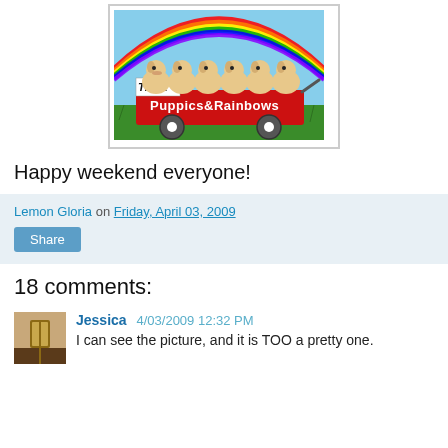[Figure (photo): Photo of golden retriever puppies in a red wagon with a rainbow background and text 'Think Puppics & Rainbows']
Happy weekend everyone!
Lemon Gloria on Friday, April 03, 2009
Share
18 comments:
Jessica 4/03/2009 12:32 PM
I can see the picture, and it is TOO a pretty one.